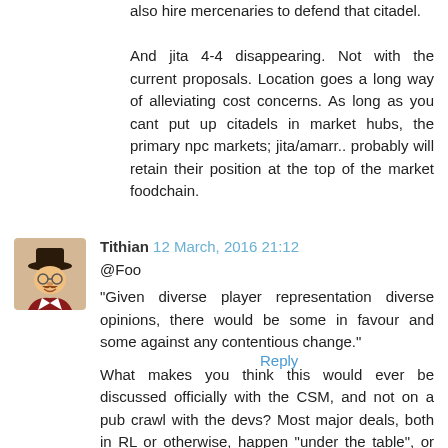also hire mercenaries to defend that citadel.

And jita 4-4 disappearing. Not with the current proposals. Location goes a long way of alleviating cost concerns. As long as you cant put up citadels in market hubs, the primary npc markets; jita/amarr.. probably will retain their position at the top of the market foodchain.
Reply
Tithian 12 March, 2016 21:12
@Foo
"Given diverse player representation diverse opinions, there would be some in favour and some against any contentious change."
What makes you think this would ever be discussed officially with the CSM, and not on a pub crawl with the devs? Most major deals, both in RL or otherwise, happen "under the table", or so to speak.